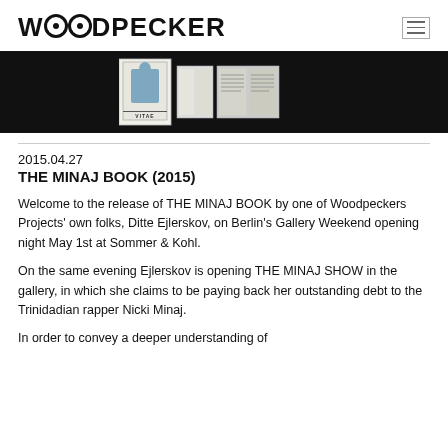WOODPECKER
[Figure (photo): Dark/black background image showing a book cover with a blue figure and text 'VITAE', alongside open spreads of the book showing pages with text columns.]
2015.04.27
THE MINAJ BOOK (2015)
Welcome to the release of THE MINAJ BOOK by one of Woodpeckers Projects' own folks, Ditte Ejlerskov, on Berlin's Gallery Weekend opening night May 1st at Sommer & Kohl.
On the same evening Ejlerskov is opening THE MINAJ SHOW in the gallery, in which she claims to be paying back her outstanding debt to the Trinidadian rapper Nicki Minaj.
In order to convey a deeper understanding of